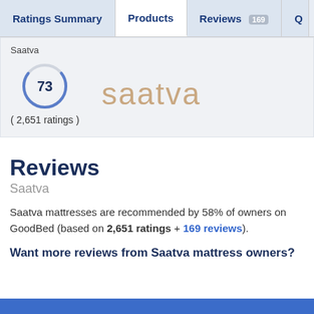Ratings Summary | Products | Reviews 169 | Q
Saatva
[Figure (other): Circular score badge showing 73 with (2,651 ratings) below, and Saatva brand logo text in tan/beige color]
Reviews
Saatva
Saatva mattresses are recommended by 58% of owners on GoodBed (based on 2,651 ratings + 169 reviews).
Want more reviews from Saatva mattress owners?